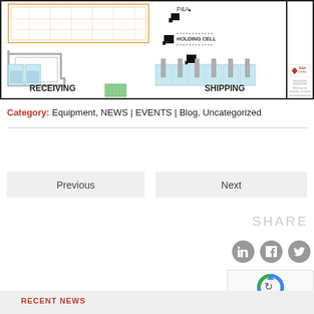[Figure (engineering-diagram): Warehouse floor plan showing Receiving and Shipping areas with a Holding Cell, P&A label, conveyor/dock systems, and S&H Systems title block on the right.]
Category: Equipment, NEWS | EVENTS | Blog, Uncategorized
Previous
Next
SHARE
RECENT NEWS